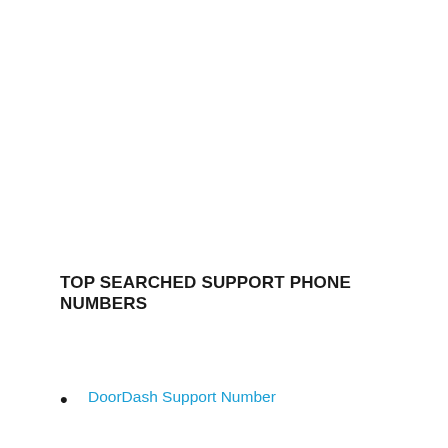TOP SEARCHED SUPPORT PHONE NUMBERS
DoorDash Support Number